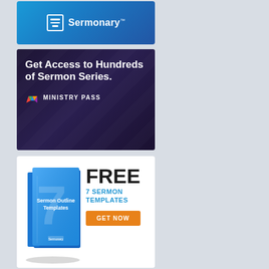[Figure (logo): Sermonary logo on blue gradient background with document icon and wordmark with trademark symbol]
[Figure (infographic): Ministry Pass advertisement: 'Get Access to Hundreds of Sermon Series.' on dark purple/navy background with diagonal texture and Ministry Pass logo]
[Figure (infographic): Sermonary free templates advertisement: 3D book 'Sermon Outline Templates', FREE 7 SERMON TEMPLATES, orange GET NOW button on white background]